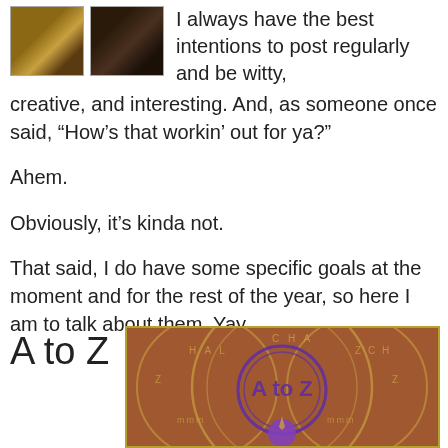[Figure (photo): Two small nature/animal photos side by side in top left corner]
I always have the best intentions to post regularly and be witty, creative, and interesting. And, as someone once said, “How’s that workin’ out for ya?”
Ahem.
Obviously, it’s kinda not.
That said, I do have some specific goals at the moment and for the rest of the year, so here I am to talk about them. Yay.
A to Z
[Figure (photo): A to Z Challenge badge/logo with circular stamp design in brown, gold and purple]